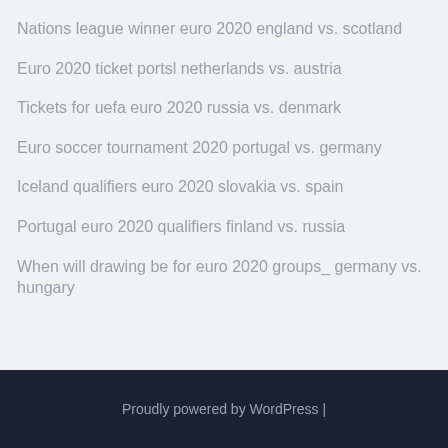Nations league winner euro 2020 england vs. scotland
Euro 2020 ticket portsl netherlands vs. austria
Tickets for uefa euro 2020 russia vs. denmark
Euro soccer tournament 2020 portugal vs. germany
Iceland qualifiers euro 2020 slovakia vs. spain
Portugal euro 2020 qualifiers finland vs. russia
When will drawing be for euro 2020 groups_ germany vs. hungary
Proudly powered by WordPress |